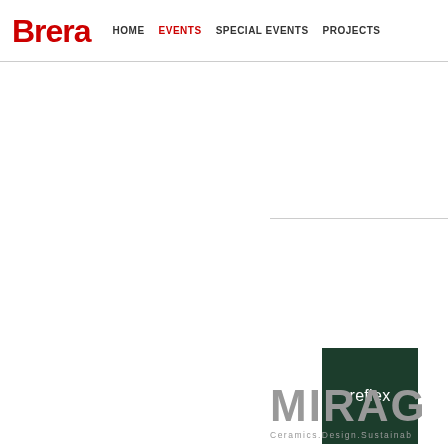Brera | HOME | EVENTS | SPECIAL EVENTS | PROJECTS
[Figure (logo): Reflex brand logo — dark green square with white 'reflex' text]
[Figure (logo): MIRAGE Ceramics.Design.Sustainab... brand logo in gray]